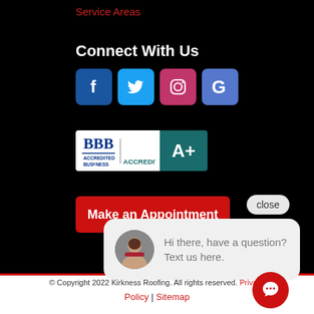Service Areas
Connect With Us
[Figure (illustration): Social media icons: Facebook (blue), Twitter (light blue), Instagram (pink/red), Google (blue-purple)]
[Figure (logo): BBB Accredited Business A+ badge]
Make an Appointment
close
Hi there, have a question? Text us here.
© Copyright 2022 Kirkness Roofing. All rights reserved. Privacy Policy | Sitemap